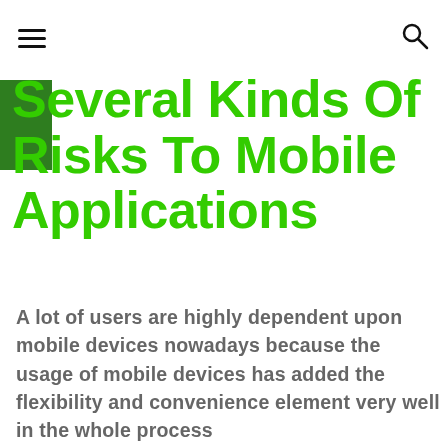[hamburger menu] [search icon]
Several Kinds Of Risks To Mobile Applications
A lot of users are highly dependent upon mobile devices nowadays because the usage of mobile devices has added the flexibility and convenience element very well in the whole process